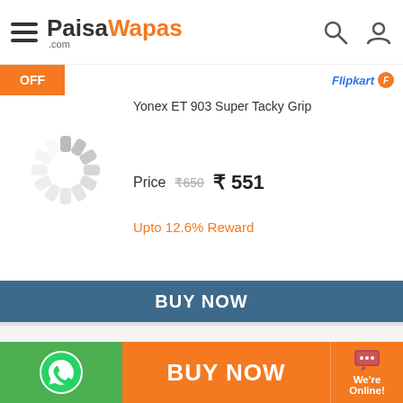PaisaWapas.com
Yonex ET 903 Super Tacky Grip
Price ₹650 ₹551
Upto 12.6% Reward
BUY NOW
25% OFF
YONEX Nanoray 6000i Blue Strung Badminton Racquet(Pack of: 1, 80 g)
Price ₹1750 ₹1309
BUY NOW | We're Online!